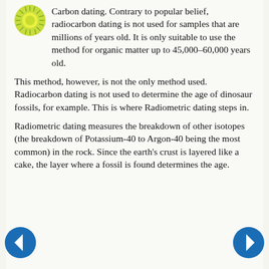[Figure (logo): Green circular logo with radiating lines resembling a sun or starburst]
Carbon dating. Contrary to popular belief, radiocarbon dating is not used for samples that are millions of years old. It is only suitable to use the method for organic matter up to 45,000–60,000 years old.
This method, however, is not the only method used. Radiocarbon dating is not used to determine the age of dinosaur fossils, for example. This is where Radiometric dating steps in.
Radiometric dating measures the breakdown of other isotopes (the breakdown of Potassium-40 to Argon-40 being the most common) in the rock. Since the earth's crust is layered like a cake, the layer where a fossil is found determines the age.